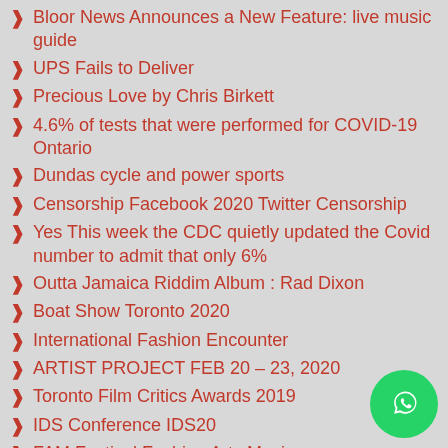Bloor News Announces a New Feature: live music guide
UPS Fails to Deliver
Precious Love by Chris Birkett
4.6% of tests that were performed for COVID-19 Ontario
Dundas cycle and power sports
Censorship Facebook 2020 Twitter Censorship
Yes This week the CDC quietly updated the Covid number to admit that only 6%
Outta Jamaica Riddim Album : Rad Dixon
Boat Show Toronto 2020
International Fashion Encounter
ARTIST PROJECT FEB 20 – 23, 2020
Toronto Film Critics Awards 2019
IDS Conference IDS20
FAM Festival Fashion Arts Music
Art Toronto 2018
Italian National Day Casa Loma
2018 Canadian Music Week
Canadian Screen Awards